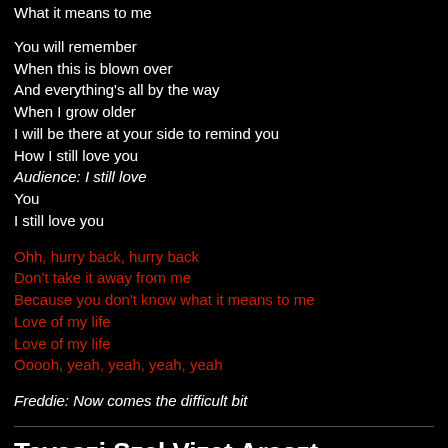What it means to me
You will remember
When this is blown over
And everything's all by the way
When I grow older
I will be there at your side to remind you
How I still love you
Audience: I still love
You
I still love you
Ohh, hurry back, hurry back
Don't take it away from me
Because you don't know what it means to me
Love of my life
Love of my life
Ooooh, yeah, yeah, yeah, yeah
Freddie: Now comes the difficult bit
Tavaszi Szel Vizet Araszt
Chapter 16, or Disc 2 Track 2. Track length 2:16, song length 1:50.
This is an acoustic track, performed by Brian and Freddie, and is a traditional Hungarian song.